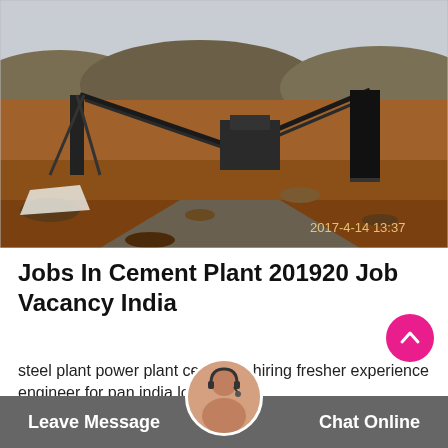[Figure (photo): Outdoor photo of a cement/quarry plant site showing industrial conveyor belts and machinery on excavated red-brown earth terrain, overcast sky in background. Timestamp in bottom-right: 2017-4-14 13:37]
Jobs In Cement Plant 201920 Job Vacancy India
steel plant power plant cement... hiring fresher experience engineer for pan india locati...
Leave Message  Chat Online